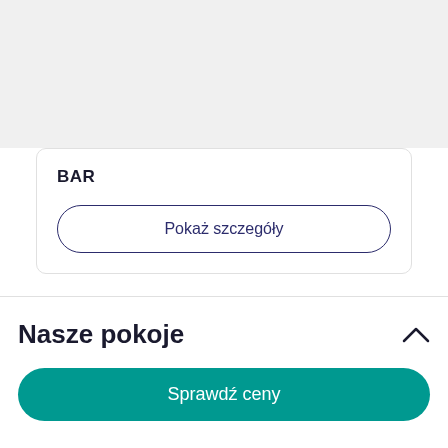[Figure (screenshot): Gray placeholder area at top of page, representing an image or map section cut off]
BAR
Pokaż szczegóły
Nasze pokoje
Sprawdź ceny